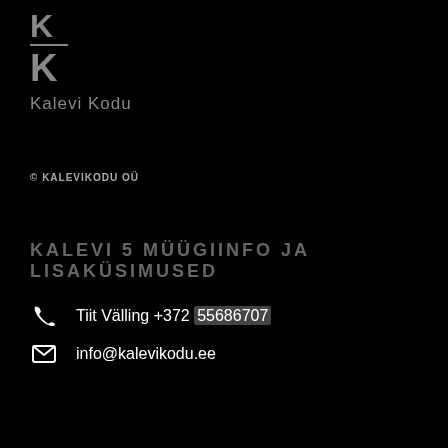[Figure (logo): Kalevi Kodu logo with two K letters stacked vertically with a horizontal line between them, and the text 'Kalevi Kodu' below]
© KALEVIKODU OÜ
KALEVI 5 MÜÜGIINFO JA LISAKÜSIMUSED
Tiit Välling +372 55686707
info@kalevikodu.ee